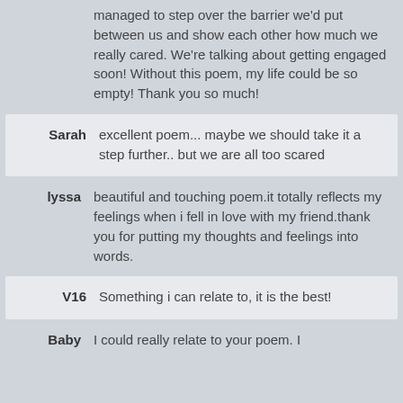managed to step over the barrier we'd put between us and show each other how much we really cared. We're talking about getting engaged soon! Without this poem, my life could be so empty! Thank you so much!
Sarah: excellent poem... maybe we should take it a step further.. but we are all too scared
lyssa: beautiful and touching poem.it totally reflects my feelings when i fell in love with my friend.thank you for putting my thoughts and feelings into words.
V16: Something i can relate to, it is the best!
Baby: I could really relate to your poem. I